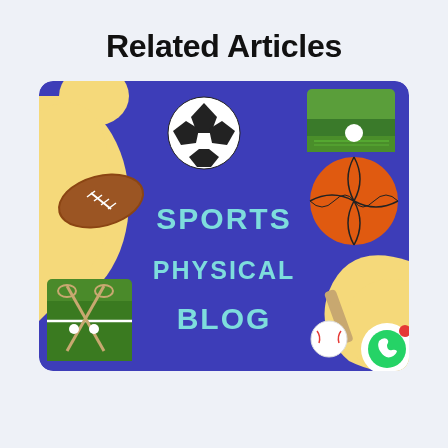Related Articles
[Figure (illustration): Sports physical blog card with purple background, yellow blobs, soccer ball, golf ball on grass photo, basketball, football, lacrosse sticks photo, baseball and bat, with centered text reading SPORTS PHYSICAL BLOG. WhatsApp chat icon in bottom right corner.]